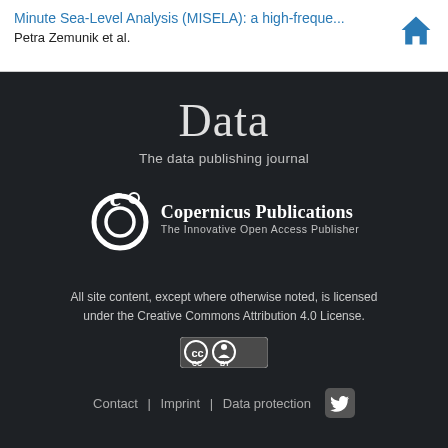Minute Sea-Level Analysis (MISELA): a high-freque... — Petra Zemunik et al.
Data
The data publishing journal
[Figure (logo): Copernicus Publications logo with stylized C icon and text 'Copernicus Publications — The Innovative Open Access Publisher']
All site content, except where otherwise noted, is licensed under the Creative Commons Attribution 4.0 License.
[Figure (logo): Creative Commons BY license badge (CC BY)]
Contact  |  Imprint  |  Data protection